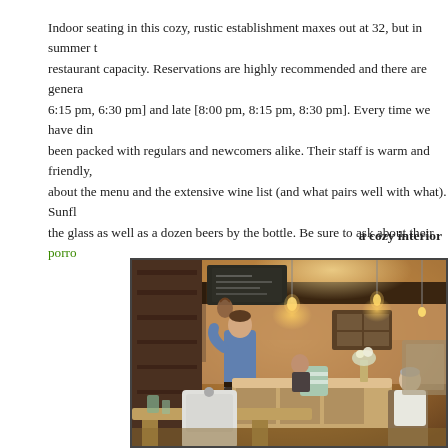Indoor seating in this cozy, rustic establishment maxes out at 32, but in summer the patio can double the restaurant capacity. Reservations are highly recommended and there are generally two seatings: early [6:00 pm, 6:15 pm, 6:30 pm] and late [8:00 pm, 8:15 pm, 8:30 pm]. Every time we have dined here, it has been packed with regulars and newcomers alike. Their staff is warm and friendly, and extremely knowledgeable about the menu and the extensive wine list (and what pairs well with what). Sunflower has several wines by the glass as well as a dozen beers by the bottle. Be sure to ask about their porro
a cozy interior
[Figure (photo): Interior photograph of a cozy, rustic restaurant with wooden beams, warm amber lighting, wood-paneled walls, a bar area, a man in a blue shirt standing near the bar, and diners seated at heavy wooden tables. The atmosphere is warm and inviting.]